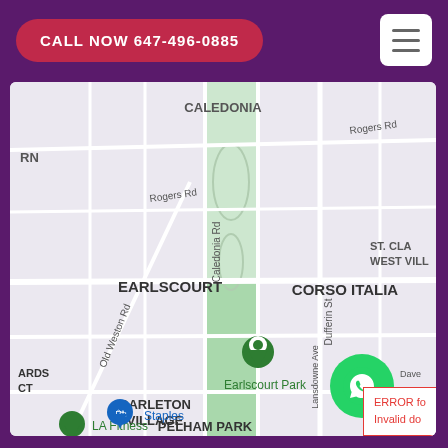CALL NOW 647-496-0885
[Figure (map): Google Maps screenshot showing neighborhood map of Toronto area including Caledonia, Earlscourt, Corso Italia, Carleton Village, Pelham Park, and ST. Clair West Village neighborhoods. Shows streets including Rogers Rd, Old Weston Rd, Caledonia Rd, Dufferin St, Lansdowne Ave. Green map pin on Earlscourt Park. Blue Staples location pin and green LA Fitness pin visible.]
ERROR for site owner: Invalid do